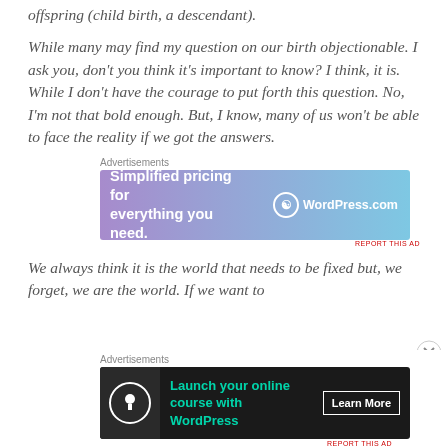offspring (child birth, a descendant).
While many may find my question on our birth objectionable. I ask you, don't you think it's important to know? I think, it is. While I don't have the courage to put forth this question. No, I'm not that bold enough. But, I know, many of us won't be able to face the reality if we got the answers.
[Figure (screenshot): WordPress.com advertisement: 'Simplified pricing for everything you need.' with WordPress.com logo on gradient purple-blue background]
We always think it is the world that needs to be fixed but, we forget, we are the world. If we want to
[Figure (screenshot): WordPress advertisement on dark background: 'Launch your online course with WordPress' with Learn More button and tree/person icon]